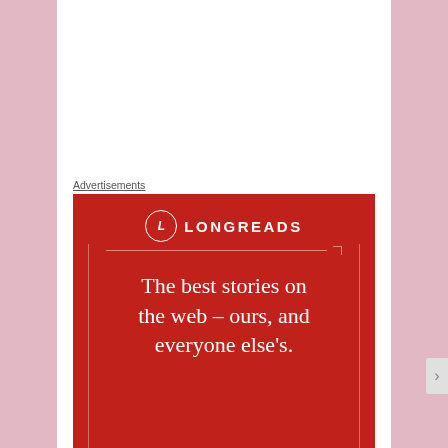Advertisements
[Figure (illustration): Longreads advertisement banner on red background with logo circle containing letter L, decorative border lines, and tagline: The best stories on the web – ours, and everyone else's.]
Skeleton Body E-Clipse Design free gift – Halloween
Privacy & Cookies: This site uses cookies. By continuing to use this website, you agree to their use.
To find out more, including how to control cookies, see here: Cookie Policy
Close and accept